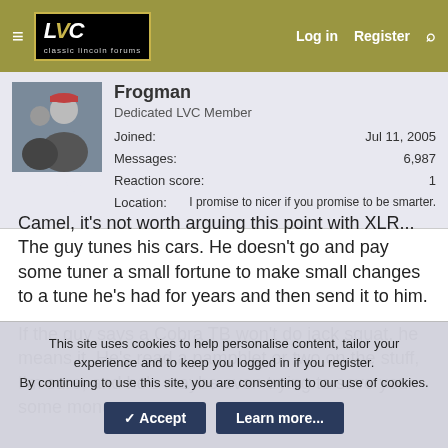LVC — Log in  Register
[Figure (photo): User avatar photo of a person in a suit]
Frogman
Dedicated LVC Member
Joined: Jul 11, 2005
Messages: 6,987
Reaction score: 1
Location: I promise to nicer if you promise to be smarter.
Camel, it's not worth arguing this point with XLR... The guy tunes his cars. He doesn't go and pay some tuner a small fortune to make small changes to a tune he's had for years and then send it to him.
If the guy says a Cobra TB won't do jack squat, he means it. He's read a pamphlet or two on the stuff, I'm sure, and he's maybe even trying to save you some money.
This site uses cookies to help personalise content, tailor your experience and to keep you logged in if you register.
By continuing to use this site, you are consenting to our use of cookies.